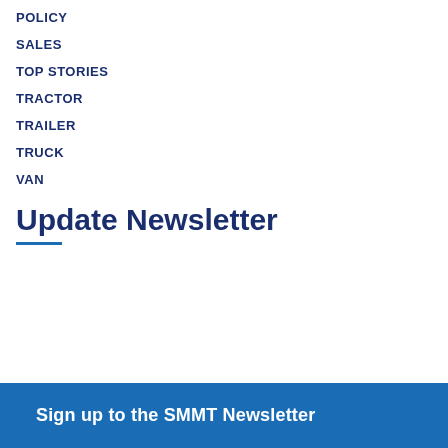POLICY
SALES
TOP STORIES
TRACTOR
TRAILER
TRUCK
VAN
Update Newsletter
Sign up to the SMMT Newsletter